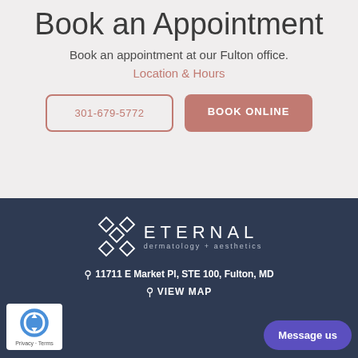Book an Appointment
Book an appointment at our Fulton office.
Location & Hours
301-679-5772
BOOK ONLINE
[Figure (logo): Eternal Dermatology + Aesthetics logo with geometric diamond cross symbol in white on dark navy background, with text ETERNAL dermatology + aesthetics]
11711 E Market Pl, STE 100, Fulton, MD
VIEW MAP
Privacy · Terms
Message us